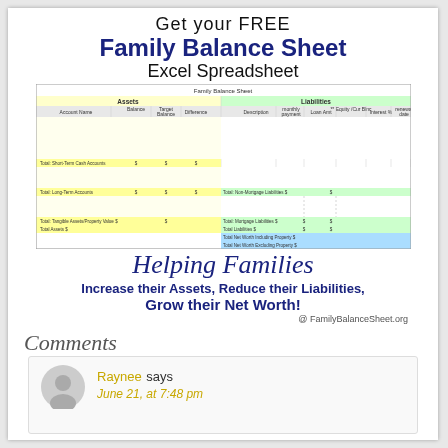Get your FREE Family Balance Sheet Excel Spreadsheet
[Figure (screenshot): Screenshot of Family Balance Sheet Excel Spreadsheet showing Assets and Liabilities columns with yellow, green, and blue color coding]
Helping Families
Increase their Assets, Reduce their Liabilities, Grow their Net Worth!
@ FamilyBalanceSheet.org
Comments
Raynee says June 21, at 7:48 pm